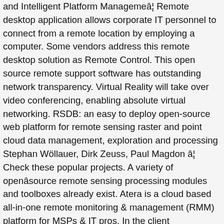and Intelligent Platform Managemeâ¦ Remote desktop application allows corporate IT personnel to connect from a remote location by employing a computer. Some vendors address this remote desktop solution as Remote Control. This open source remote support software has outstanding network transparency. Virtual Reality will take over video conferencing, enabling absolute virtual networking. RSDB: an easy to deploy open-source web platform for remote sensing raster and point cloud data management, exploration and processing Stephan Wöllauer, Dirk Zeuss, Paul Magdon â¦ Check these popular projects. A variety of openâsource remote sensing processing modules and toolboxes already exist. Atera is a cloud based all-in-one remote monitoring & management (RMM) platform for MSPs & IT pros. In the client configuration, this app specifies the name of the desired executable by accessing single applications. This free remote desktop solution uses RDP (Microsoft Remote Desktop Protocol) and allows connections from various RDP clients. X2Go is the free and open source remote support software that